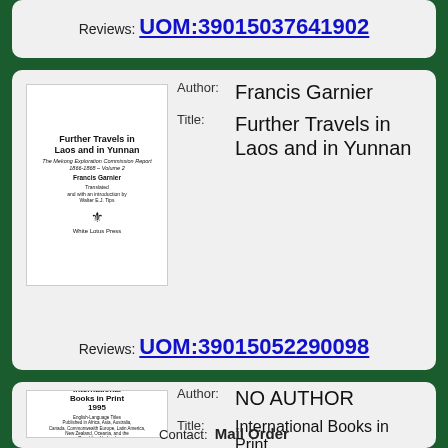Reviews: UOM:39015037641902
[Figure (illustration): Book cover thumbnail for 'Further Travels in Laos and in Yunnan' by Francis Garnier, White Lotus Press]
Author: Francis Garnier
Title: Further Travels in Laos and in Yunnan
Reviews: UOM:39015052290098
[Figure (illustration): Book cover thumbnail for 'International Books in Print 1995']
Author: NO AUTHOR
Title: International Books in Print
Contact: Mail Order